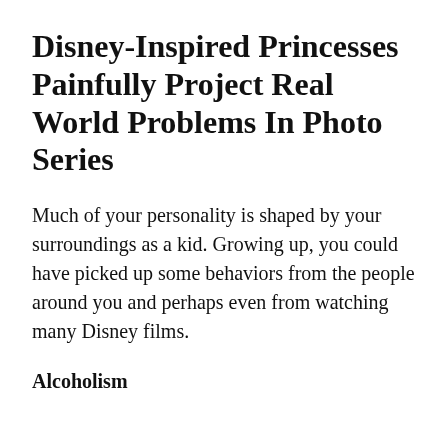Disney-Inspired Princesses Painfully Project Real World Problems In Photo Series
Much of your personality is shaped by your surroundings as a kid. Growing up, you could have picked up some behaviors from the people around you and perhaps even from watching many Disney films.
Alcoholism